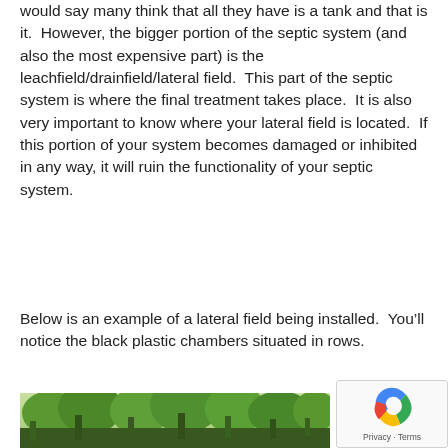would say many think that all they have is a tank and that is it.  However, the bigger portion of the septic system (and also the most expensive part) is the leachfield/drainfield/lateral field.  This part of the septic system is where the final treatment takes place.  It is also very important to know where your lateral field is located.  If this portion of your system becomes damaged or inhibited in any way, it will ruin the functionality of your septic system.
Below is an example of a lateral field being installed.  You’ll notice the black plastic chambers situated in rows.
[Figure (photo): Outdoor scene with trees and greenery, showing a lateral field being installed with black plastic chambers in rows]